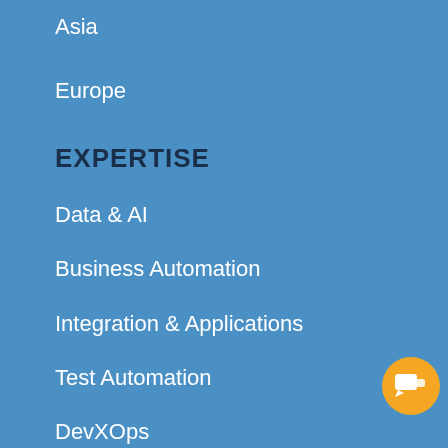Asia
Europe
EXPERTISE
Data & AI
Business Automation
Integration & Applications
Test Automation
DevXOps
Cybersecurity
Workshops
[Figure (screenshot): Chat widget popup overlay with message 'Hello. How may I help you?' and a close button, accompanied by an orange chat bubble button in the bottom right corner.]